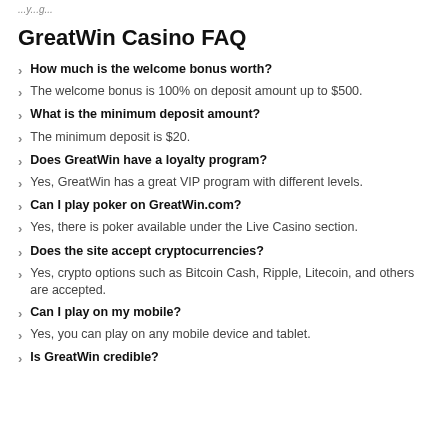...y...g...
GreatWin Casino FAQ
How much is the welcome bonus worth?
The welcome bonus is 100% on deposit amount up to $500.
What is the minimum deposit amount?
The minimum deposit is $20.
Does GreatWin have a loyalty program?
Yes, GreatWin has a great VIP program with different levels.
Can I play poker on GreatWin.com?
Yes, there is poker available under the Live Casino section.
Does the site accept cryptocurrencies?
Yes, crypto options such as Bitcoin Cash, Ripple, Litecoin, and others are accepted.
Can I play on my mobile?
Yes, you can play on any mobile device and tablet.
Is GreatWin credible?